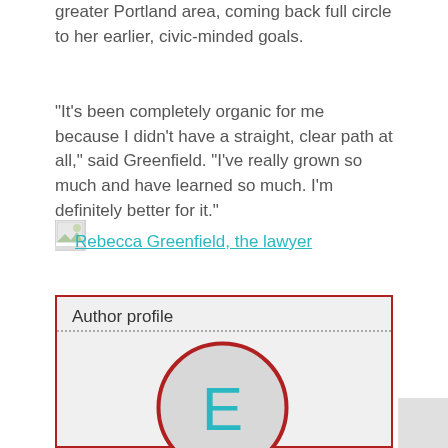greater Portland area, coming back full circle to her earlier, civic-minded goals.
“It’s been completely organic for me because I didn’t have a straight, clear path at all,” said Greenfield. “I’ve really grown so much and have learned so much. I’m definitely better for it.”
[Figure (photo): Small broken image placeholder icon]
Rebecca Greenfield, the lawyer
Author profile
[Figure (illustration): Circle avatar with letter E in teal, inside an author profile box with dark red border and light gray background]